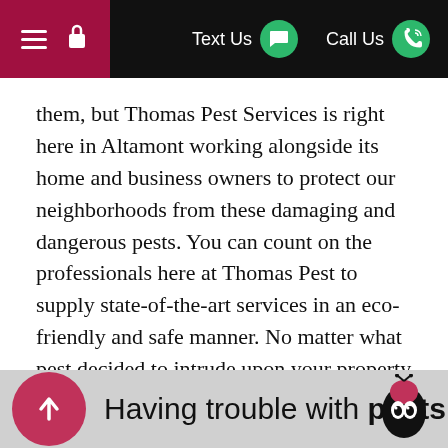Text Us | Call Us
them, but Thomas Pest Services is right here in Altamont working alongside its home and business owners to protect our neighborhoods from these damaging and dangerous pests. You can count on the professionals here at Thomas Pest to supply state-of-the-art services in an eco-friendly and safe manner. No matter what pest decided to intrude upon your property, Thomas Pest Services has the right solution for you.
FREE ESTIMATE
OR CALL
(518) 501-1249
Having trouble with pests in